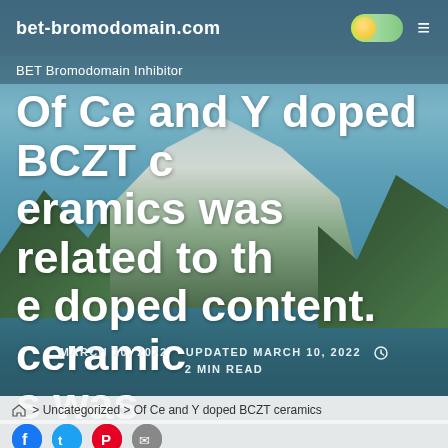bet-bromodomain.com
BET Bromodomain Inhibitor
Of Ce and Y doped BCZT ceramics was related to the doped content. ceramics was
MARCH 10, 2022   UPDATED MARCH 10, 2022   2 MIN READ
> Uncategorized > Of Ce and Y doped BCZT ceramics